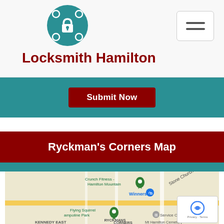[Figure (logo): Teal circular logo with lock and crosshair/gear symbol in white]
Locksmith Hamilton
[Figure (other): Hamburger menu icon button in top right corner]
[Figure (other): Dark red Submit Now button on teal background]
Ryckman's Corners Map
[Figure (map): Google Maps screenshot showing Ryckman's Corners area in Hamilton, Ontario with markers for Crunch Fitness Hamilton Mountain, Winners, Flying Squirrel Trampoline Park, Service Canada Centre. Labels include Stone Church Rd E, Kennedy East, Ryckmans Corners, Mt Hamilton Cemetery.]